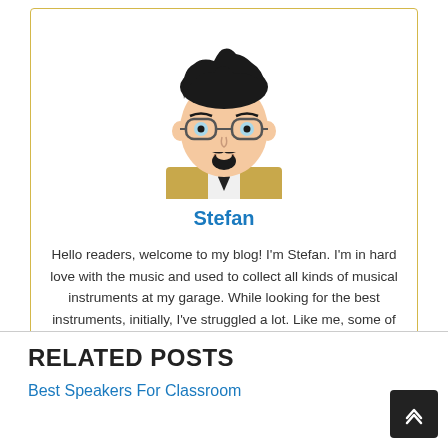[Figure (illustration): Cartoon avatar of a young man with black messy hair, glasses, goatee beard, wearing a beige blazer and black tie]
Stefan
Hello readers, welcome to my blog! I'm Stefan. I'm in hard love with the music and used to collect all kinds of musical instruments at my garage. While looking for the best instruments, initially, I've struggled a lot. Like me, some of you might be struggling to choose the best musical equipment. So, keep reading my articles and get the best musical instrument that is worth your pay.
RELATED POSTS
Best Speakers For Classroom